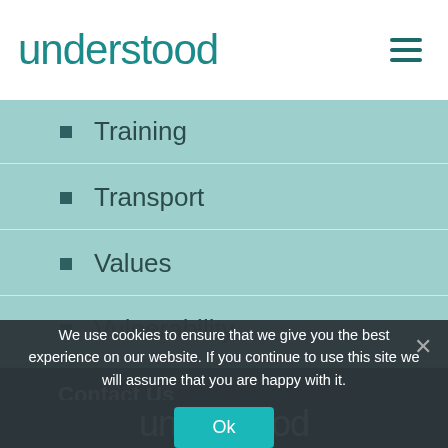understood
Training
Transport
Values
Vulnerability
Contact Us
[Figure (logo): Understood logo in white on dark background]
We use cookies to ensure that we give you the best experience on our website. If you continue to use this site we will assume that you are happy with it.